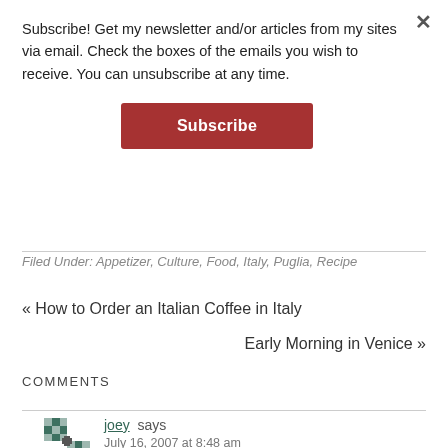Subscribe! Get my newsletter and/or articles from my sites via email. Check the boxes of the emails you wish to receive. You can unsubscribe at any time.
Subscribe
Filed Under: Appetizer, Culture, Food, Italy, Puglia, Recipe
« How to Order an Italian Coffee in Italy
Early Morning in Venice »
COMMENTS
joey says
July 16, 2007 at 8:48 am